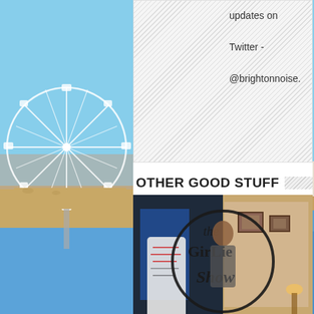updates on Twitter - @brightonnoise.
OTHER GOOD STUFF
[Figure (photo): Photo of The Girlie Show art exhibition, with artistic text lettering reading 'the Girlie Show' and people in the background]
Brighton Art Exhibitions - Our Top 5 For April 2015
[Figure (photo): Photo of a person with raised fist against a yellow background]